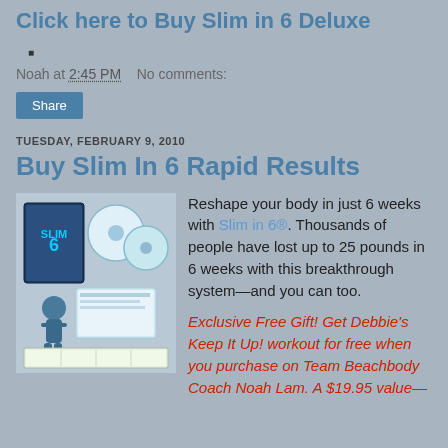Click here to Buy Slim in 6 Deluxe
Noah at 2:45 PM    No comments:
Share
TUESDAY, FEBRUARY 9, 2010
Buy Slim In 6 Rapid Results
[Figure (photo): Slim in 6 workout DVD product image showing fitness program materials]
Reshape your body in just 6 weeks with Slim in 6®. Thousands of people have lost up to 25 pounds in 6 weeks with this breakthrough system—and you can too.
Exclusive Free Gift! Get Debbie's Keep It Up! workout for free when you purchase on Team Beachbody Coach Noah Lam. A $19.95 value—